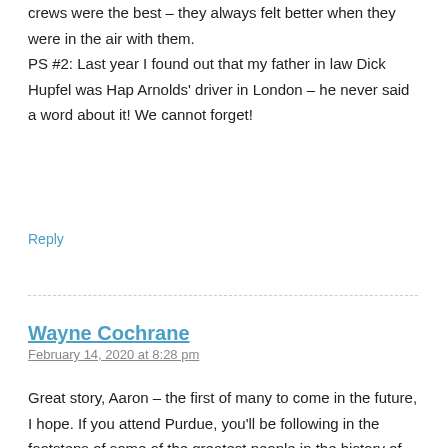crews were the best – they always felt better when they were in the air with them.
PS #2: Last year I found out that my father in law Dick Hupfel was Hap Arnolds' driver in London – he never said a word about it! We cannot forget!
Reply
Wayne Cochrane
February 14, 2020 at 8:28 pm
Great story, Aaron – the first of many to come in the future, I hope. If you attend Purdue, you'll be following in the footsteps of some of the greatest people in the history of aviation. But aside with